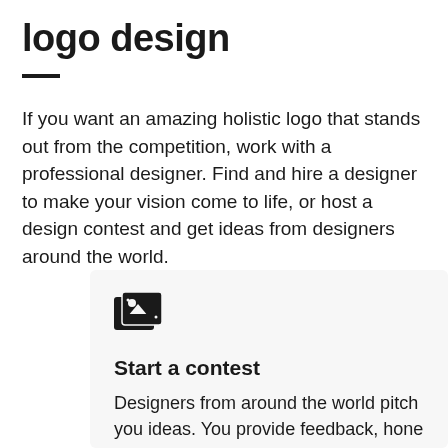logo design
If you want an amazing holistic logo that stands out from the competition, work with a professional designer. Find and hire a designer to make your vision come to life, or host a design contest and get ideas from designers around the world.
Start a contest
Designers from around the world pitch you ideas. You provide feedback, hone your favorites and choose a winner.